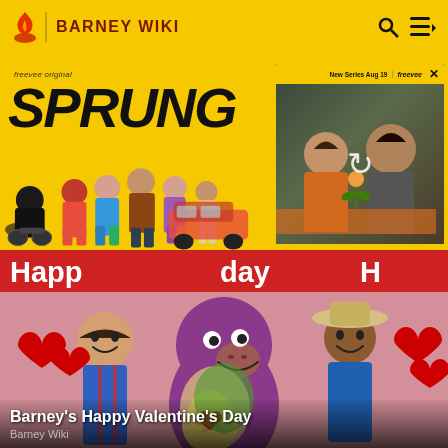BARNEY WIKI
[Figure (screenshot): Advertisement banner for Freevee original series 'SPRUNG' showing cast characters on yellow background and a video thumbnail on the right with 'New Series Aug 19 | freevee' text]
[Figure (photo): Barney's Happy Valentine's Day - image showing Barney the purple dinosaur with human characters in a Valentine's Day themed scene with 'Happy' text banners and red hearts]
Barney's Happy Valentine's Day
Barney Wiki